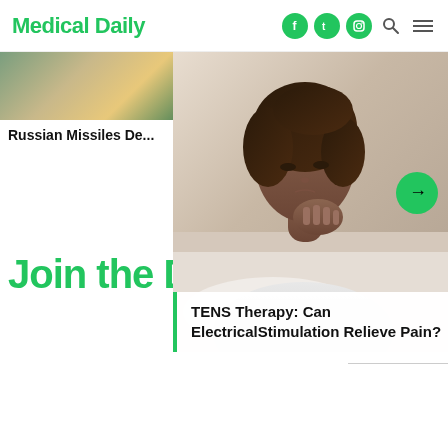Medical Daily
Russian Missiles De...
Join the Di...
[Figure (photo): Woman sitting on a bed, looking downward, appearing to be in pain, hand on her neck/shoulder area]
TENS Therapy: Can ElectricalStimulation Relieve Pain?